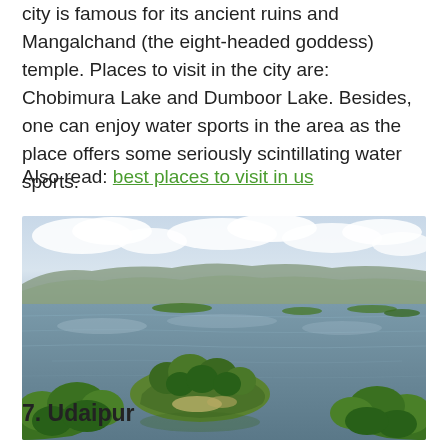city is famous for its ancient ruins and Mangalchand (the eight-headed goddess) temple. Places to visit in the city are: Chobimura Lake and Dumboor Lake. Besides, one can enjoy water sports in the area as the place offers some seriously scintillating water sports.
Also read: best places to visit in us
[Figure (photo): Aerial view of a large lake with green islands and trees in the foreground, distant hills and cloudy sky in the background.]
7. Udaipur